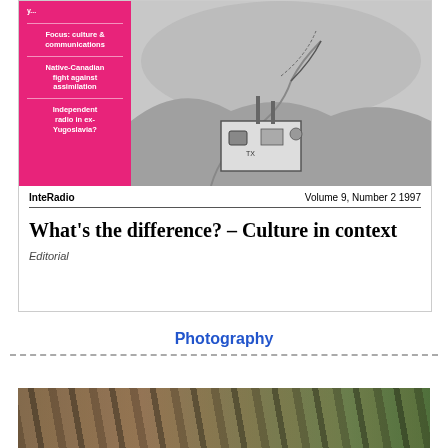[Figure (illustration): Magazine cover of InteRadio Vol 9 No 2 1997 showing pink sidebar with topic headings and a grayscale illustration of a radio broadcasting setup with landscape]
InteRadio    Volume 9, Number 2 1997
What's the difference? – Culture in context
Editorial
Photography
[Figure (photo): Close-up photograph of large tree roots and foliage]